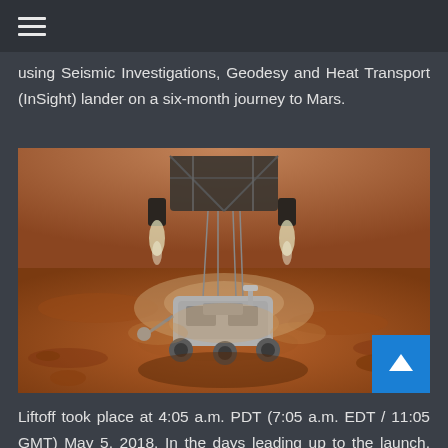≡
using Seismic Investigations, Geodesy and Heat Transport (InSight) lander on a six-month journey to Mars.
[Figure (photo): Illustration of a Mars rover (Curiosity) being lowered to the Martian surface by a sky crane, with retrorockets firing and the rover descending on cables above the reddish-brown Martian terrain.]
Liftoff took place at 4:05 a.m. PDT (7:05 a.m. EDT / 11:05 GMT) May 5, 2018. In the days leading up to the launch, meteorologists with the U.S. Air Force's 30th Space Wing predicted a 20 percent chance of favorable weather for the launch due to an expected marine layer fog which would reduce visibility. This range safety constraint was the only area